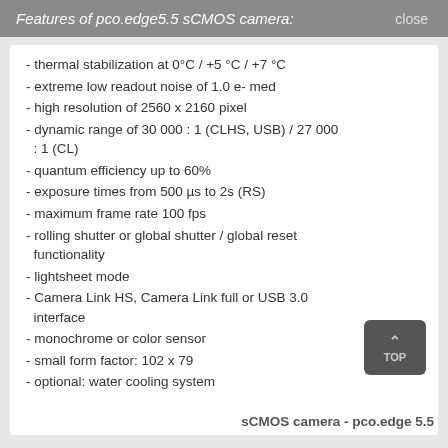Features of pco.edge5.5 sCMOS camera:   close
- thermal stabilization at 0°C / +5 °C / +7 °C
- extreme low readout noise of 1.0 e- med
- high resolution of 2560 x 2160 pixel
- dynamic range of 30 000 : 1 (CLHS, USB) / 27 000 : 1 (CL)
- quantum efficiency up to 60%
- exposure times from 500 µs to 2s (RS)
- maximum frame rate 100 fps
- rolling shutter or global shutter / global reset functionality
- lightsheet mode
- Camera Link HS, Camera Link full or USB 3.0 interface
- monochrome or color sensor
- small form factor: 102 x 79 x ...
- optional: water cooling system
sCMOS camera - pco.edge 5.5